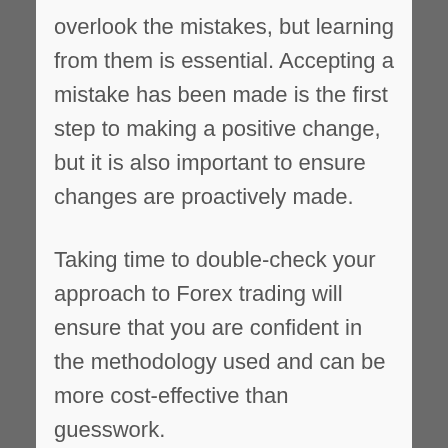overlook the mistakes, but learning from them is essential. Accepting a mistake has been made is the first step to making a positive change, but it is also important to ensure changes are proactively made.
Taking time to double-check your approach to Forex trading will ensure that you are confident in the methodology used and can be more cost-effective than guesswork.
There is no denying that Forex trading can seem complicated at first. Fortunately, using the aforementioned tips can ensure you start your